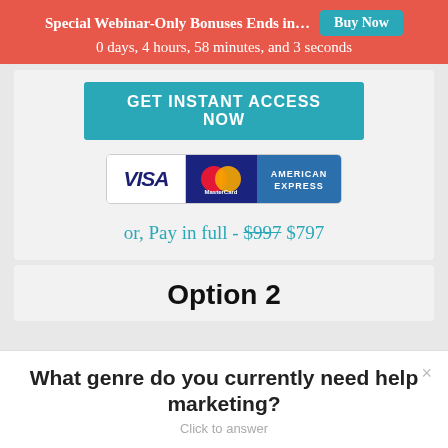Special Webinar-Only Bonuses Ends in… Buy Now
0 days, 4 hours, 58 minutes, and 3 seconds
[Figure (other): GET INSTANT ACCESS NOW button (teal/cyan colored CTA button)]
[Figure (other): Payment method logos: VISA, MasterCard, American Express]
or, Pay in full - $997 $797
Option 2
What genre do you currently need help marketing?
Click to answer